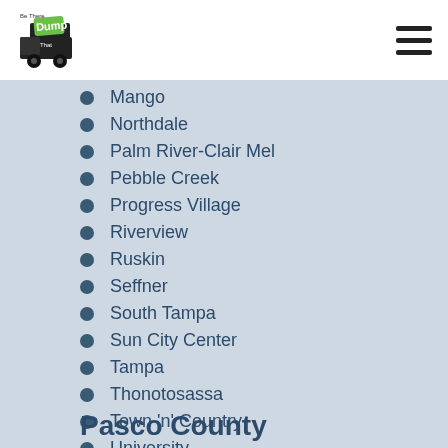Be There Dump That - Residential & Junk Removal
Mango
Northdale
Palm River-Clair Mel
Pebble Creek
Progress Village
Riverview
Ruskin
Seffner
South Tampa
Sun City Center
Tampa
Thonotosassa
Town 'n' Country
University
Valrico
Westchase
Pasco County